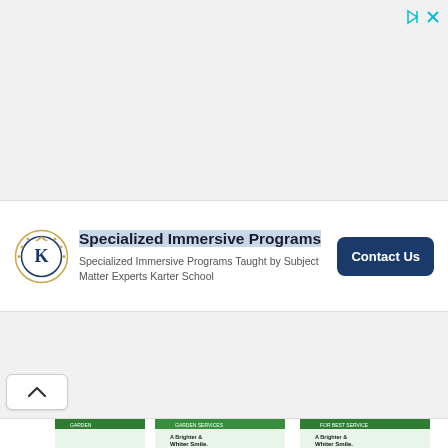[Figure (screenshot): Top gray area of a webpage, light gray background, with ad close/info icons top right (a play/info triangle icon and an X icon in cyan/teal color)]
[Figure (infographic): Advertisement banner for Karter School: circular logo with K and laurel wreath on left, text 'Specialized Immersive Programs' in bold with subtitle 'Specialized Immersive Programs Taught by Subject Matter Experts Karter School', and a dark navy 'Contact Us' button on the right]
[Figure (screenshot): Middle gray area of webpage, with a small chevron/up-arrow button at bottom left]
[Figure (screenshot): Bottom portion showing overlapping garden services flyer thumbnails and dental appointment flyers with text 'A Brighter & Whiter Smile.' and 'Make an Appointment 7/24']